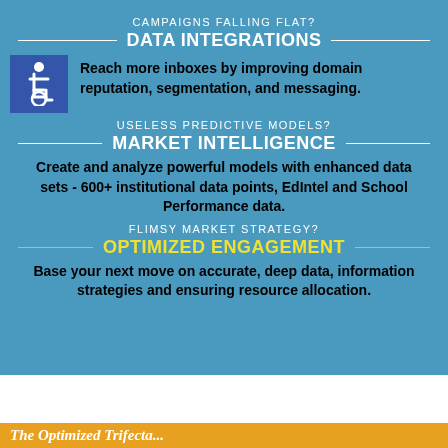CAMPAIGNS FALLING FLAT?
DATA INTEGRATIONS
Reach more inboxes by improving domain reputation, segmentation, and messaging.
USELESS PREDICTIVE MODELS?
MARKET INTELLIGENCE
Create and analyze powerful models with enhanced data sets - 600+ institutional data points, EdIntel and School Performance data.
FLIMSY MARKET STRATEGY?
OPTIMIZED ENGAGEMENT
Base your next move on accurate, deep data, information strategies and ensuring resource allocation.